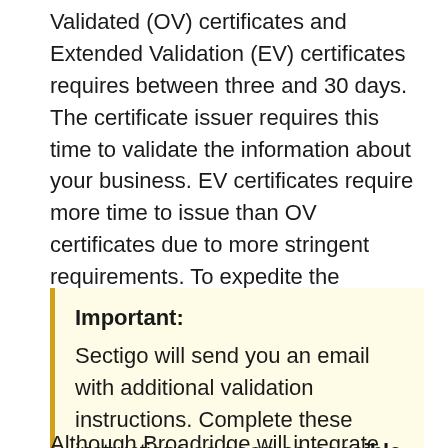Validated (OV) certificates and Extended Validation (EV) certificates requires between three and 30 days. The certificate issuer requires this time to validate the information about your business. EV certificates require more time to issue than OV certificates due to more stringent requirements. To expedite the validation process, click the associated information message for each certificate, if the message exists.
Important: Sectigo will send you an email with additional validation instructions. Complete these instructions as soon as possible to avoid delays.
Although Broadridge will integrate their